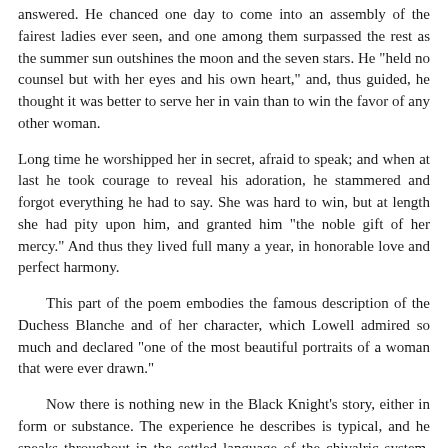answered. He chanced one day to come into an assembly of the fairest ladies ever seen, and one among them surpassed the rest as the summer sun outshines the moon and the seven stars. He "held no counsel but with her eyes and his own heart," and, thus guided, he thought it was better to serve her in vain than to win the favor of any other woman.
Long time he worshipped her in secret, afraid to speak; and when at last he took courage to reveal his adoration, he stammered and forgot everything he had to say. She was hard to win, but at length she had pity upon him, and granted him "the noble gift of her mercy." And thus they lived full many a year, in honorable love and perfect harmony.
This part of the poem embodies the famous description of the Duchess Blanche and of her character, which Lowell admired so much and declared "one of the most beautiful portraits of a woman that were ever drawn."
Now there is nothing new in the Black Knight's story, either in form or substance. The experience he describes is typical, and he speaks throughout in the settled language of the chivalric system. Love was the only life that became the gently nurtured, and they alone were capable of love. Submission to the god was their natural duty; in his grace and favor was their only hope; for no man's heart was in his own control. It was the god of love, not the